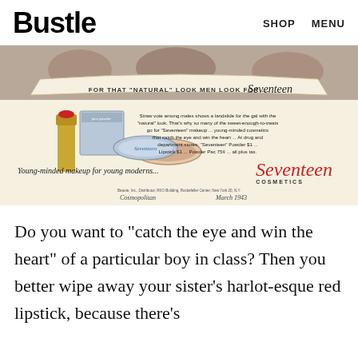Bustle   SHOP   MENU
[Figure (photo): Vintage Seventeen Cosmetics advertisement showing a lipstick and powder compact. Text reads: 'FOR THAT "NATURAL" LOOK MEN LOOK FOR... Seventeen'. Ad copy: 'Straw vote among males shows a landslide for the gal with the "natural" look. That's why so many of the sweet-enough-to-treats go for "Seventeen" makeup ... young-minded cosmetics that catch the eye and win the heart ... At drug and department stores: "Seventeen" Powder $1 ... Lipstick $1 ... Powder Pac 75¢ ... all plus tax.' Bottom: 'Young-minded makeup for young moderns... Seventeen COSMETICS'. Source: Cosmopolitan March 1943.]
Do you want to "catch the eye and win the heart" of a particular boy in class? Then you better wipe away your sister's harlot-esque red lipstick, because there's